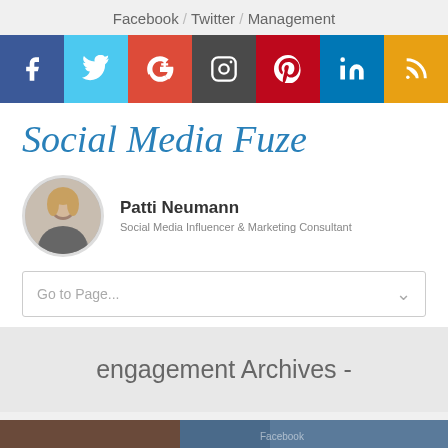Facebook / Twitter / Management
[Figure (infographic): Social media icon bar with 7 colored squares: Facebook (blue), Twitter (light blue), Google+ (red), Instagram (dark gray), Pinterest (red), LinkedIn (blue), RSS (orange), each with white icon symbols]
Social Media Fuze
[Figure (photo): Circular avatar photo of Patti Neumann, a woman with blonde hair wearing a gray blazer]
Patti Neumann
Social Media Influencer & Marketing Consultant
Go to Page...
engagement Archives -
[Figure (photo): Partial bottom image strip showing a Facebook-related photo, cropped at bottom of page]